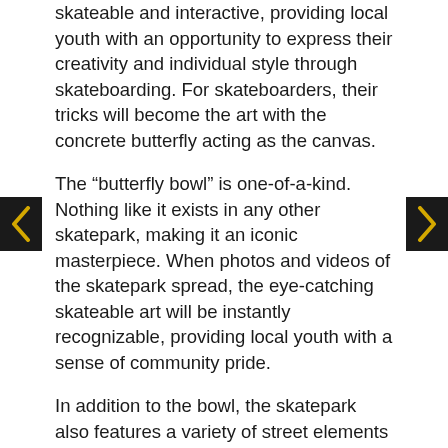skateable and interactive, providing local youth with an opportunity to express their creativity and individual style through skateboarding. For skateboarders, their tricks will become the art with the concrete butterfly acting as the canvas.
The “butterfly bowl” is one-of-a-kind. Nothing like it exists in any other skatepark, making it an iconic masterpiece. When photos and videos of the skatepark spread, the eye-catching skateable art will be instantly recognizable, providing local youth with a sense of community pride.
In addition to the bowl, the skatepark also features a variety of street elements including grind rails, manual pads and stairs.
Our skatepark construction will begin shortly, so stay tuned for updates!